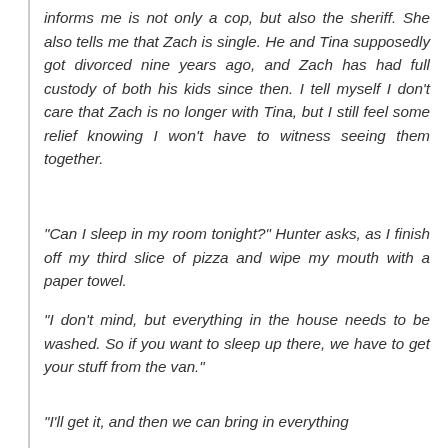informs me is not only a cop, but also the sheriff. She also tells me that Zach is single. He and Tina supposedly got divorced nine years ago, and Zach has had full custody of both his kids since then. I tell myself I don't care that Zach is no longer with Tina, but I still feel some relief knowing I won't have to witness seeing them together.
“Can I sleep in my room tonight?” Hunter asks, as I finish off my third slice of pizza and wipe my mouth with a paper towel.
“I don’t mind, but everything in the house needs to be washed. So if you want to sleep up there, we have to get your stuff from the van.”
“I’ll get it, and then we can bring in everything